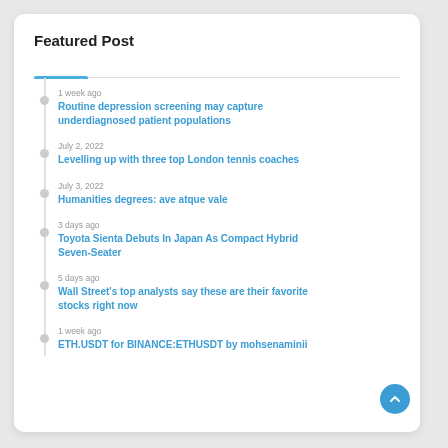Featured Post
1 week ago — Routine depression screening may capture underdiagnosed patient populations
July 2, 2022 — Levelling up with three top London tennis coaches
July 3, 2022 — Humanities degrees: ave atque vale
3 days ago — Toyota Sienta Debuts In Japan As Compact Hybrid Seven-Seater
5 days ago — Wall Street's top analysts say these are their favorite stocks right now
1 week ago — ETH.USDT for BINANCE:ETHUSDT by mohsenaminii